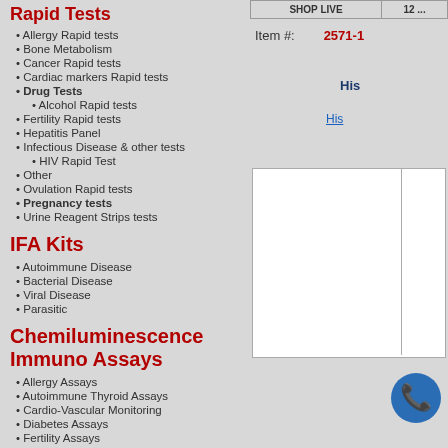Rapid Tests
• Allergy Rapid tests
• Bone Metabolism
• Cancer Rapid tests
• Cardiac markers Rapid tests
• Drug Tests
• Alcohol Rapid tests
• Fertility Rapid tests
• Hepatitis Panel
• Infectious Disease & other tests
• HIV Rapid Test
• Other
• Ovulation Rapid tests
• Pregnancy tests
• Urine Reagent Strips tests
IFA Kits
• Autoimmune Disease
• Bacterial Disease
• Viral Disease
• Parasitic
Chemiluminescence Immuno Assays
• Allergy Assays
• Autoimmune Thyroid Assays
• Cardio-Vascular Monitoring
• Diabetes Assays
• Fertility Assays
• Growth Deficiency
• Infectious Disease Assays
• Others
• Steroid Assays
• Thyroid Assays
Item #: 2571-1
His
His
[Figure (other): Product image area with two panels separated by a vertical line]